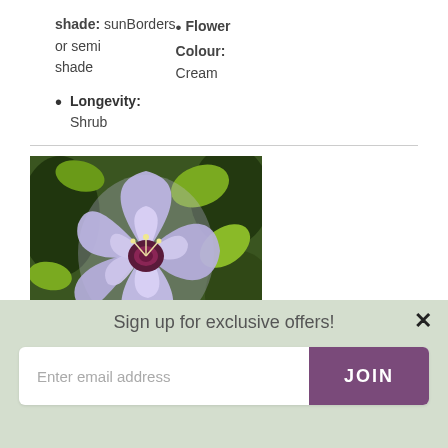shade: sunBorders or semi shade • Flower Colour: Cream
Longevity: Shrub
[Figure (photo): Close-up photograph of a large lavender/blue hibiscus flower with ruffled double petals and a dark pink-red center, set against green foliage background]
Sign up for exclusive offers!
Enter email address  JOIN